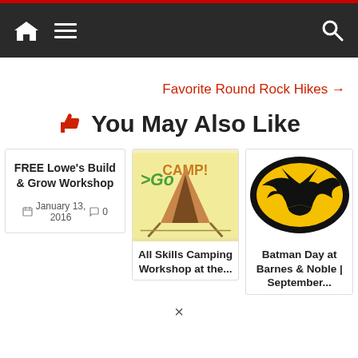Navigation bar with home icon, hamburger menu, and search icon
Favorite Round Rock Hikes →
👍 You May Also Like
FREE Lowe's Build & Grow Workshop | January 13, 2016 | 0 comments
[Figure (photo): Go Camping promotional image with tent illustration]
All Skills Camping Workshop at the...
[Figure (logo): Batman Day logo - black oval with yellow Batman symbol]
Batman Day at Barnes & Noble | September...
×